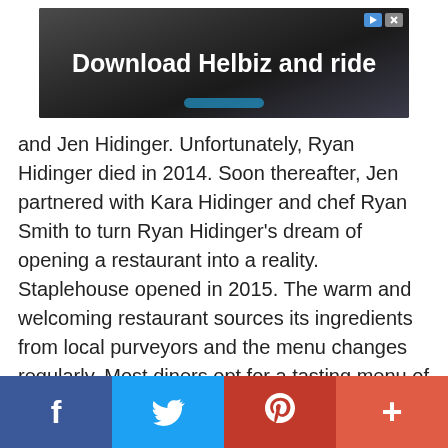[Figure (screenshot): Advertisement banner: 'Download Helbiz and ride' shown on dark background with scooter image, with play and close icons in top right corner]
and Jen Hidinger. Unfortunately, Ryan Hidinger died in 2014. Soon thereafter, Jen partnered with Kara Hidinger and chef Ryan Smith to turn Ryan Hidinger's dream of opening a restaurant into a reality. Staplehouse opened in 2015. The warm and welcoming restaurant sources its ingredients from local purveyors and the menu changes regularly. Most diners opt for a tasting menu of dishes like sturgeon with fennel and green onion, Grandma Lillian's potato bread and duck sausage with pepper shoyu and cashew.
[Figure (infographic): Social sharing bar with four buttons: Facebook (blue), Twitter (light blue), Pinterest (red), and a plus/more button (orange-red)]